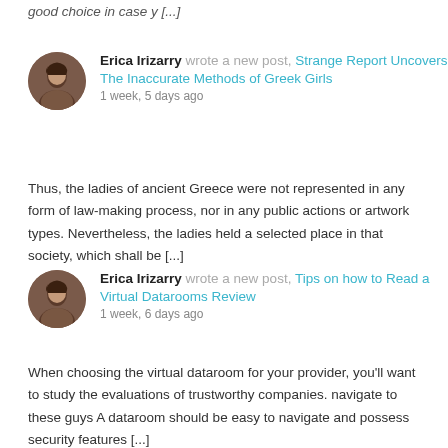good choice in case y [...]
Erica Irizarry wrote a new post, Strange Report Uncovers The Inaccurate Methods of Greek Girls
1 week, 5 days ago
Thus, the ladies of ancient Greece were not represented in any form of law-making process, nor in any public actions or artwork types. Nevertheless, the ladies held a selected place in that society, which shall be [...]
Erica Irizarry wrote a new post, Tips on how to Read a Virtual Datarooms Review
1 week, 6 days ago
When choosing the virtual dataroom for your provider, you'll want to study the evaluations of trustworthy companies. navigate to these guys A dataroom should be easy to navigate and possess security features [...]